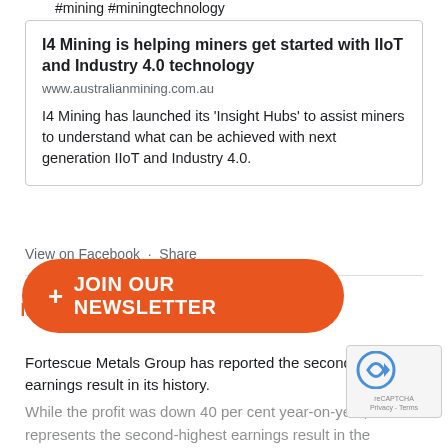#mining #miningtechnology
I4 Mining is helping miners get started with IIoT and Industry 4.0 technology
www.australianmining.com.au
I4 Mining has launched its ‘Insight Hubs’ to assist miners to understand what can be achieved with next generation IIoT and Industry 4.0.
View on Facebook  ·  Share
Australian Mining
15 hours ago
Fortescue Metals Group has reported the second-highest earnings result in its history.
#mining #metals #profits #FY22
Record shipments drive Fortescue’s $9b profit -
While the profit was down 40 per cent year-on-year, it still represents the second-highest earnings result in the